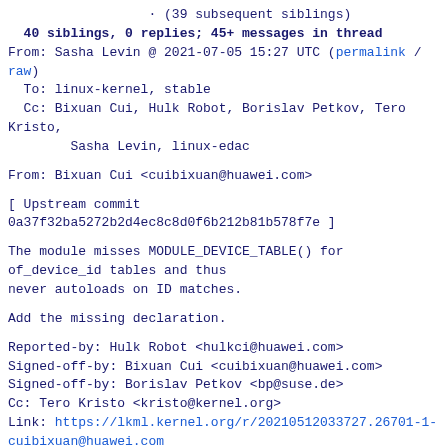· (39 subsequent siblings)
  40 siblings, 0 replies; 45+ messages in thread
From: Sasha Levin @ 2021-07-05 15:27 UTC (permalink /
raw)
  To: linux-kernel, stable
  Cc: Bixuan Cui, Hulk Robot, Borislav Petkov, Tero
Kristo,
        Sasha Levin, linux-edac
From: Bixuan Cui <cuibixuan@huawei.com>
[ Upstream commit
0a37f32ba5272b2d4ec8c8d0f6b212b81b578f7e ]
The module misses MODULE_DEVICE_TABLE() for
of_device_id tables and thus
never autoloads on ID matches.
Add the missing declaration.
Reported-by: Hulk Robot <hulkci@huawei.com>
Signed-off-by: Bixuan Cui <cuibixuan@huawei.com>
Signed-off-by: Borislav Petkov <bp@suse.de>
Cc: Tero Kristo <kristo@kernel.org>
Link: https://lkml.kernel.org/r/20210512033727.26701-1-cuibixuan@huawei.com
Signed-off-by: Sasha Levin <sashal@kernel.org>
---
 drivers/edac/ti_edac.c | 1 +
 1 file changed, 1 insertion(+)